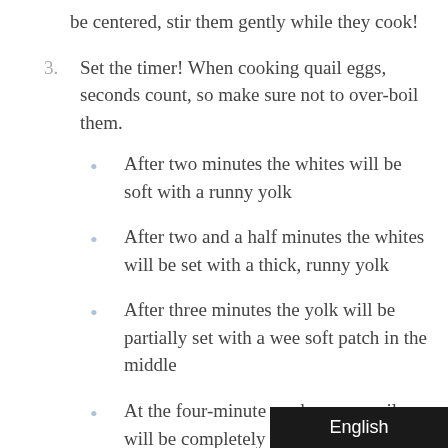be centered, stir them gently while they cook!
3. Set the timer! When cooking quail eggs, seconds count, so make sure not to over-boil them.
After two minutes the whites will be soft with a runny yolk
After two and a half minutes the whites will be set with a thick, runny yolk
After three minutes the yolk will be partially set with a wee soft patch in the middle
At the four-minute mark, your quail egg will be completely hard-boiled
If you leave it longer than tha
English